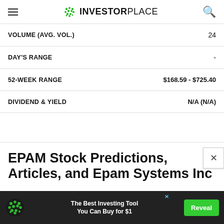INVESTORPLACE
| Label | Value |
| --- | --- |
| VOLUME (AVG. VOL.) | 24 |
| DAY'S RANGE | - |
| 52-WEEK RANGE | $168.59 - $725.40 |
| DIVIDEND & YIELD | N/A (N/A) |
EPAM Stock Predictions, Articles, and Epam Systems Inc
[Figure (other): Advertisement banner: 'The Best Investing Tool You Can Buy for $1' with a Reveal button and InvestorPlace logo, dark background]